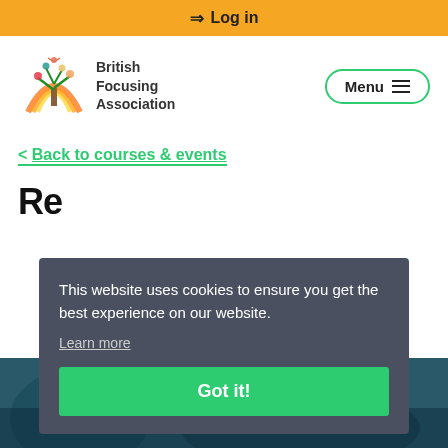Log in
[Figure (logo): British Focusing Association logo — stylized colorful tree with figures, alongside text 'British Focusing Association']
Menu
< Back to courses & events
Rewilding the soul
[Figure (photo): Partial background image visible at bottom of page, appears to show a nature/landscape scene]
This website uses cookies to ensure you get the best experience on our website.
Learn more
Got it!